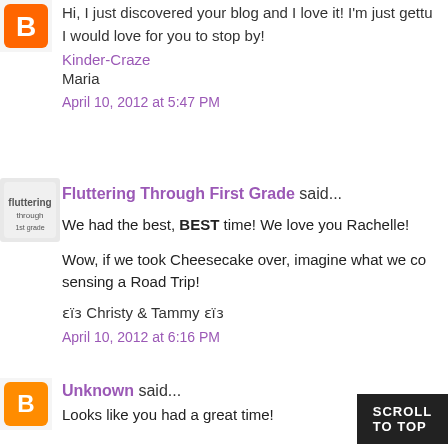Hi, I just discovered your blog and I love it! I'm just getti... I would love for you to stop by!
Kinder-Craze
Maria
April 10, 2012 at 5:47 PM
Fluttering Through First Grade said...
We had the best, BEST time! We love you Rachelle!
Wow, if we took Cheesecake over, imagine what we co... sensing a Road Trip!
ɛïɜ Christy & Tammy ɛïɜ
April 10, 2012 at 6:16 PM
Unknown said...
Looks like you had a great time!
SCROLL TO TOP